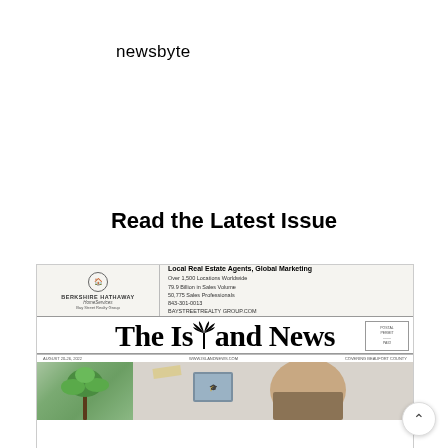newsbyte
Read the Latest Issue
[Figure (screenshot): Screenshot of a newspaper website showing The Island News front page, with a Berkshire Hathaway real estate ad banner at top, the masthead 'The Island News' with a palm tree icon, date/website/location info bar, and two photos below.]